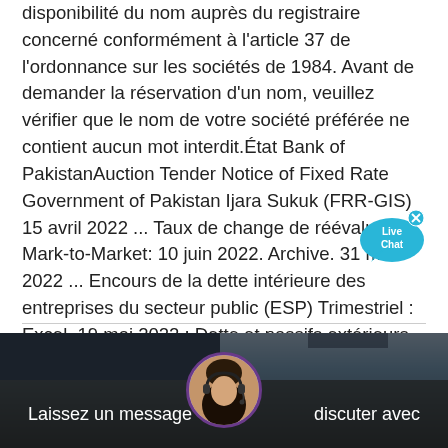disponibilité du nom auprès du registraire concerné conformément à l'article 37 de l'ordonnance sur les sociétés de 1984. Avant de demander la réservation d'un nom, veuillez vérifier que le nom de votre société préférée ne contient aucun mot interdit.État Bank of PakistanAuction Tender Notice of Fixed Rate Government of Pakistan Ijara Sukuk (FRR-GIS) 15 avril 2022 ... Taux de change de réévaluation Mark-to-Market: 10 juin 2022. Archive. 31 mai 2022 ... Encours de la dette intérieure des entreprises du secteur public (ESP) Trimestriel : Excel. 19 mai 2022 : Dette et passifs extérieurs du Pakistan - Encours : Trimestriel :
[Figure (screenshot): Live Chat button with speech bubble icon, teal/blue color with X close button in top right corner]
[Figure (photo): Background image showing a vehicle or industrial scene with dark tones, partially obscured by a bottom chat bar. A circular avatar of a woman with a headset is shown at the bottom center.]